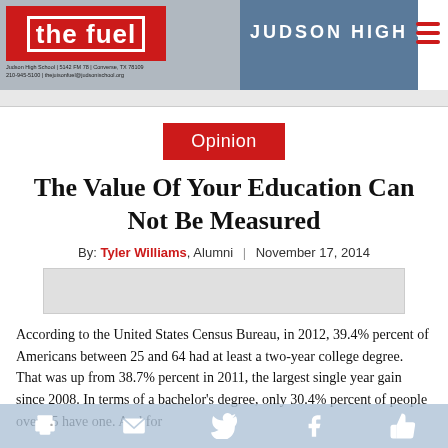[Figure (logo): The Fuel logo — red box with white outlined text, Judson High School newspaper banner with building photo]
Opinion
The Value Of Your Education Can Not Be Measured
By: Tyler Williams, Alumni | November 17, 2014
According to the United States Census Bureau, in 2012, 39.4% percent of Americans between 25 and 64 had at least a two-year college degree. That was up from 38.7% percent in 2011, the largest single year gain since 2008. In terms of a bachelor's degree, only 30.4% percent of people over 25 have one. And for